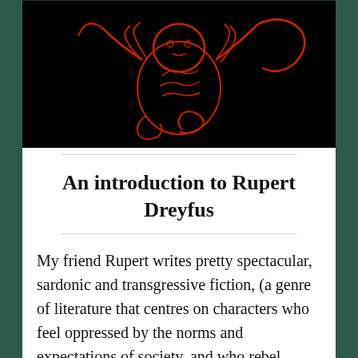[Figure (illustration): Red illustration of an intricate figure or creature on a black background, appearing as a stylized hand or skeletal form with swirling details in red ink.]
An introduction to Rupert Dreyfus
My friend Rupert writes pretty spectacular, sardonic and transgressive fiction, (a genre of literature that centres on characters who feel oppressed by the norms and expectations of society, and who rebel against those imposed confines. Usually